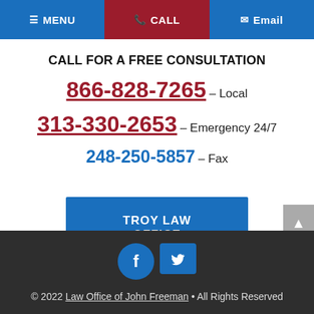MENU | CALL | Email
CALL FOR A FREE CONSULTATION
866-828-7265 – Local
313-330-2653 – Emergency 24/7
248-250-5857 – Fax
TROY LAW OFFICE
© 2022 Law Office of John Freeman • All Rights Reserved